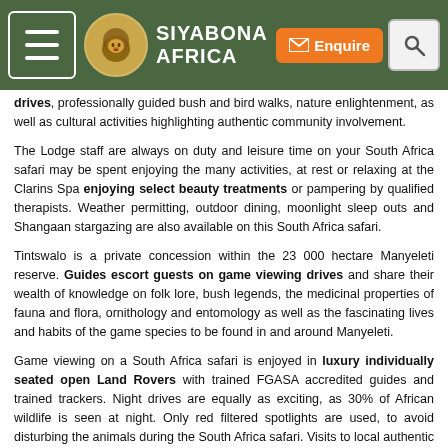Siyabona Africa — Navigation header with menu, logo, Enquire button and search
drives, professionally guided bush and bird walks, nature enlightenment, as well as cultural activities highlighting authentic community involvement.
The Lodge staff are always on duty and leisure time on your South Africa safari may be spent enjoying the many activities, at rest or relaxing at the Clarins Spa enjoying select beauty treatments or pampering by qualified therapists. Weather permitting, outdoor dining, moonlight sleep outs and Shangaan stargazing are also available on this South Africa safari.
Tintswalo is a private concession within the 23 000 hectare Manyeleti reserve. Guides escort guests on game viewing drives and share their wealth of knowledge on folk lore, bush legends, the medicinal properties of fauna and flora, ornithology and entomology as well as the fascinating lives and habits of the game species to be found in and around Manyeleti.
Game viewing on a South Africa safari is enjoyed in luxury individually seated open Land Rovers with trained FGASA accredited guides and trained trackers. Night drives are equally as exciting, as 30% of African wildlife is seen at night. Only red filtered spotlights are used, to avoid disturbing the animals during the South Africa safari. Visits to local authentic communities, where some of the staff reside, can be arranged.